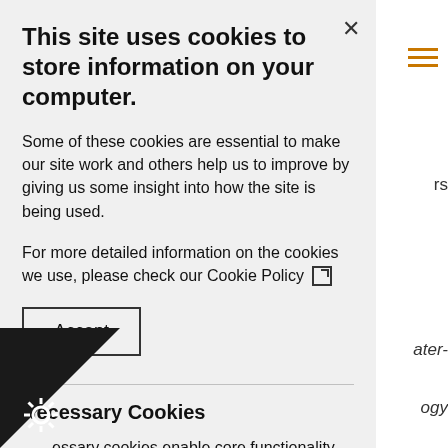This site uses cookies to store information on your computer.
Some of these cookies are essential to make our site work and others help us to improve by giving us some insight into how the site is being used.
For more detailed information on the cookies we use, please check our Cookie Policy
Accept
Necessary Cookies
essary cookies enable core functionality. The cannot function properly without these